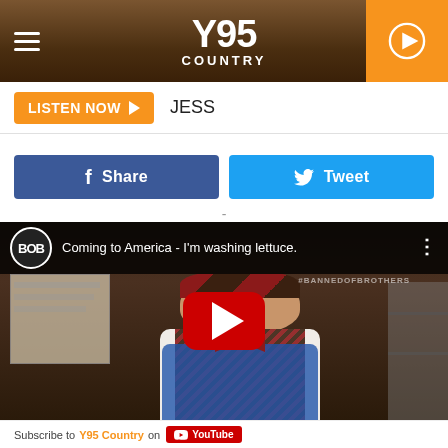Y95 COUNTRY
LISTEN NOW  JESS
Share   Tweet
-
[Figure (screenshot): YouTube video thumbnail showing a person dressed in McDonald's uniform with plaid vest and bow tie. Video title: 'Coming to America - I'm washing lettuce.' BOB channel logo visible. YouTube play button overlay in center. #BANNEDOFBROTHERS watermark top right.]
Subscribe to Y95 Country on YouTube